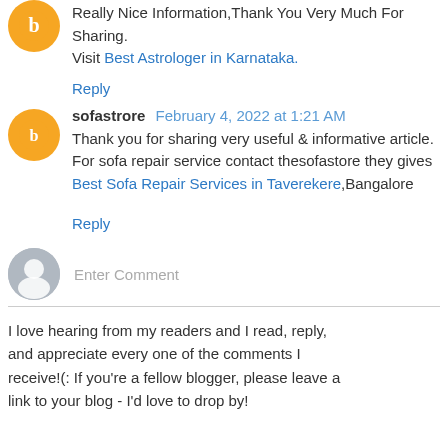Really Nice Information,Thank You Very Much For Sharing. Visit Best Astrologer in Karnataka.
Reply
sofastrore February 4, 2022 at 1:21 AM
Thank you for sharing very useful & informative article. For sofa repair service contact thesofastore they gives Best Sofa Repair Services in Taverekere,Bangalore
Reply
Enter Comment
I love hearing from my readers and I read, reply, and appreciate every one of the comments I receive!(: If you're a fellow blogger, please leave a link to your blog - I'd love to drop by!